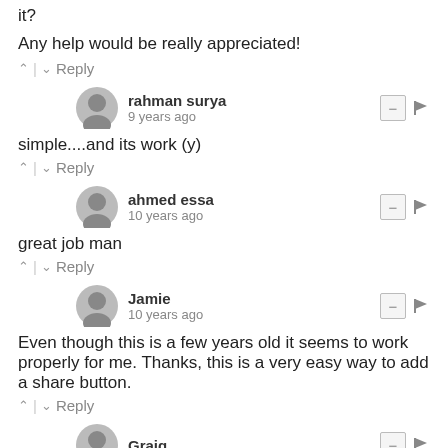it?
Any help would be really appreciated!
^ | v Reply
rahman surya
9 years ago
simple....and its work (y)
^ | v Reply
ahmed essa
10 years ago
great job man
^ | v Reply
Jamie
10 years ago
Even though this is a few years old it seems to work properly for me. Thanks, this is a very easy way to add a share button.
^ | v Reply
Graig